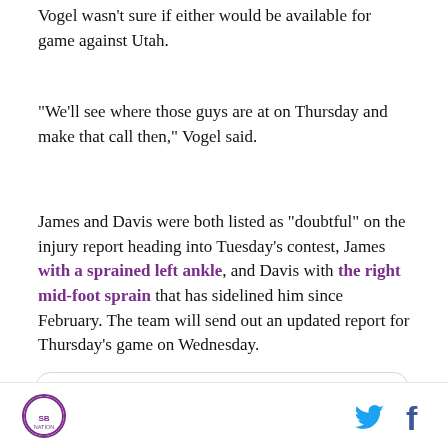Vogel wasn't sure if either would be available for game against Utah.
“We’ll see where those guys are at on Thursday and make that call then,” Vogel said.
James and Davis were both listed as “doubtful” on the injury report heading into Tuesday’s contest, James with a sprained left ankle, and Davis with the right mid-foot sprain that has sidelined him since February. The team will send out an updated report for Thursday’s game on Wednesday.
[Figure (screenshot): Tweet card showing Bill Oram Twitter account with verified badge, handle @billoram, Follow button, and Twitter bird icon]
SB Nation logo | Twitter icon | Facebook icon